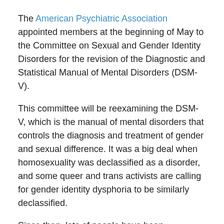The American Psychiatric Association appointed members at the beginning of May to the Committee on Sexual and Gender Identity Disorders for the revision of the Diagnostic and Statistical Manual of Mental Disorders (DSM-V).
This committee will be reexamining the DSM-V, which is the manual of mental disorders that controls the diagnosis and treatment of gender and sexual difference. It was a big deal when homosexuality was declassified as a disorder, and some queer and trans activists are calling for gender identity dysphoria to be similarly declassified.
Since then, lots of people have been expressing their concern about two particular appointments: Ray Blanchard and Kenneth Zucker (who has been appointed as chair).
From Rea Carey, Acting Executive Director, National Gay